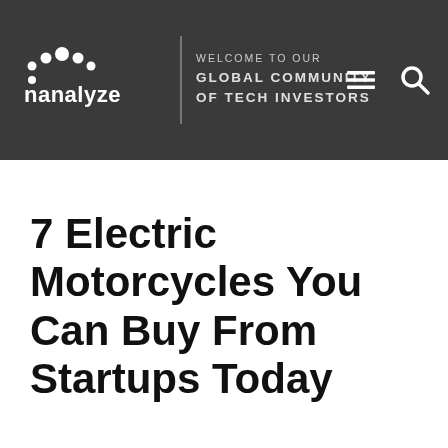WELCOME TO OUR GLOBAL COMMUNITY OF TECH INVESTORS
7 Electric Motorcycles You Can Buy From Startups Today